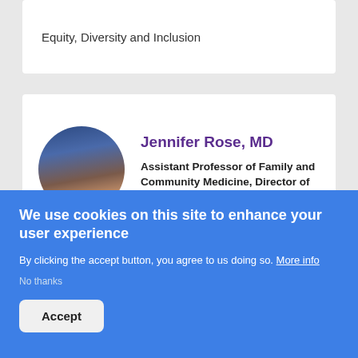Equity, Diversity and Inclusion
Jennifer Rose, MD
Assistant Professor of Family and Community Medicine, Director of Lincoln Scholars Program
[Figure (photo): Circular headshot of Jennifer Rose, a woman with long brown hair, smiling, on a blue background]
Scott Schonewolf, DO
[Figure (photo): Partial circular headshot of Scott Schonewolf on a green/teal background]
We use cookies on this site to enhance your user experience
By clicking the accept button, you agree to us doing so. More info
No thanks
Accept